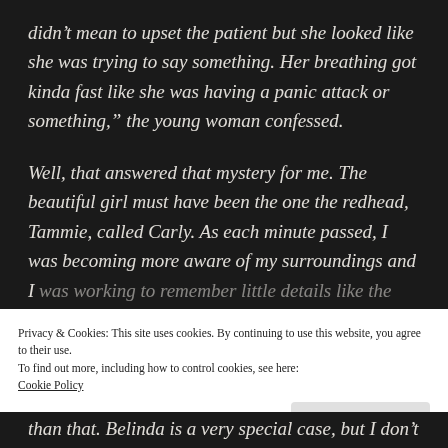didn’t mean to upset the patient but she looked like she was trying to say something. Her breathing got kinda fast like she was having a panic attack or something,” the young woman confessed.
Well, that answered that mystery for me. The beautiful girl must have been the one the redhead, Tammie, called Carly. As each minute passed, I was becoming more aware of my surroundings and I was working to remember little details like the
Privacy & Cookies: This site uses cookies. By continuing to use this website, you agree to their use.
To find out more, including how to control cookies, see here: Cookie Policy
than that. Belinda is a very special case, but I don’t